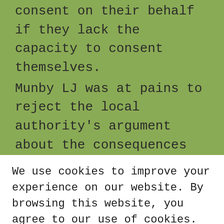consent on their behalf if they lack the capacity to consent themselves. Munby LJ was at pains to reject the local authority's argument about the consequences to public resources of decisions around Deprivation of Liberty, stressing the importance of both the substantive and procedural requirements of Article 5 in
We use cookies to improve your experience on our website. By browsing this website, you agree to our use of cookies.
AGREE